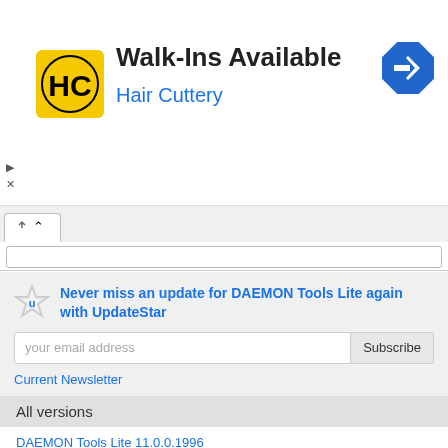[Figure (logo): Hair Cuttery advertisement banner with HC logo, 'Walk-Ins Available' heading, 'Hair Cuttery' subtitle in blue, and a blue navigation diamond icon]
Never miss an update for DAEMON Tools Lite again with UpdateStar
your email address
Subscribe
Current Newsletter
All versions
DAEMON Tools Lite 11.0.0.1996
DAEMON Tools Lite 11.0.0.1977
DAEMON Tools Lite 11.0.0.1973
DAEMON Tools Lite 11.0.0.1970
DAEMON Tools Lite 11.0.0.1966
DAEMON Tools Lite 11.0.0.1960